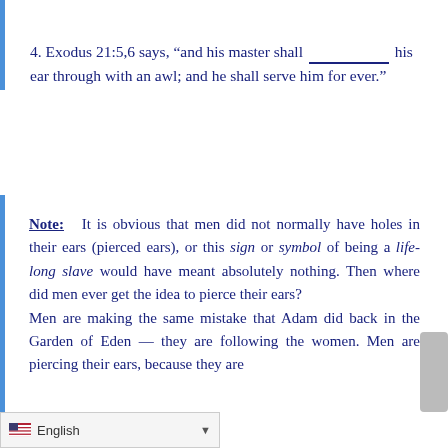4. Exodus 21:5,6 says, “and his master shall ________ his ear through with an awl; and he shall serve him for ever.”
Note: It is obvious that men did not normally have holes in their ears (pierced ears), or this sign or symbol of being a life-long slave would have meant absolutely nothing. Then where did men ever get the idea to pierce their ears? Men are making the same mistake that Adam did back in the Garden of Eden — they are following the women. Men are piercing their ears, because they are
English